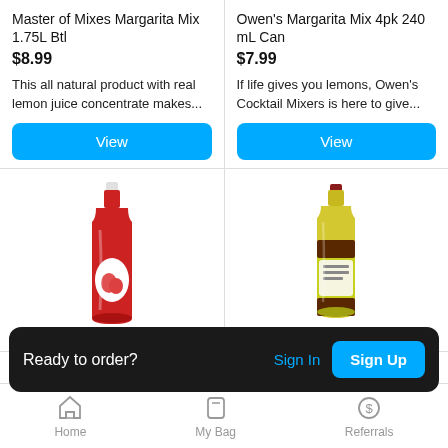Master of Mixes Margarita Mix 1.75L Btl
$8.99
This all natural product with real lemon juice concentrate makes...
Owen's Margarita Mix 4pk 240 mL Can
$7.99
If life gives you lemons, Owen's Cocktail Mixers is here to give...
[Figure (photo): Red bottle of Master of Mixes Margarita Mix]
[Figure (photo): Yellow/green bottle of Master of Mixes Margarita Mix]
Ready to order?  Sign In  Sign Up
Home  My Bag  Referrals